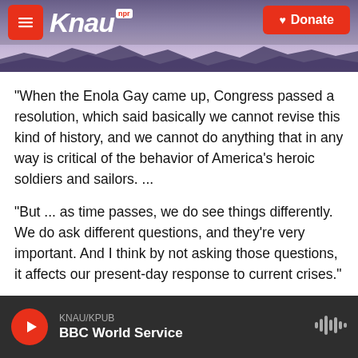KNAU NPR — Donate
"When the Enola Gay came up, Congress passed a resolution, which said basically we cannot revise this kind of history, and we cannot do anything that in any way is critical of the behavior of America's heroic soldiers and sailors. ...
"But ... as time passes, we do see things differently. We do ask different questions, and they're very important. And I think by not asking those questions, it affects our present-day response to current crises."
KNAU/KPUB — BBC World Service